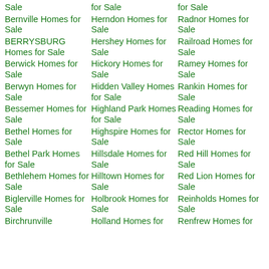Sale
for Sale
for Sale
Bernville Homes for Sale
Herndon Homes for Sale
Radnor Homes for Sale
BERRYSBURG Homes for Sale
Hershey Homes for Sale
Railroad Homes for Sale
Berwick Homes for Sale
Hickory Homes for Sale
Ramey Homes for Sale
Berwyn Homes for Sale
Hidden Valley Homes for Sale
Rankin Homes for Sale
Bessemer Homes for Sale
Highland Park Homes for Sale
Reading Homes for Sale
Bethel Homes for Sale
Highspire Homes for Sale
Rector Homes for Sale
Bethel Park Homes for Sale
Hillsdale Homes for Sale
Red Hill Homes for Sale
Bethlehem Homes for Sale
Hilltown Homes for Sale
Red Lion Homes for Sale
Biglerville Homes for Sale
Holbrook Homes for Sale
Reinholds Homes for Sale
Birchrunville
Holland Homes for
Renfrew Homes for